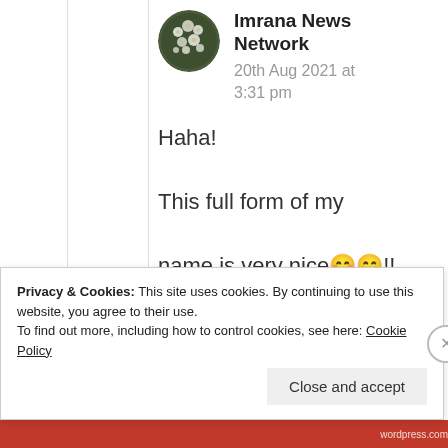[Figure (photo): Circular avatar photo of flowers (white blossoms) for Imrana News Network]
Imrana News Network
20th Aug 2021 at 3:31 pm
Haha!

This full form of my name is very nice😊😁!! I am just joking haha! I like everything whatever you call😊!
Privacy & Cookies: This site uses cookies. By continuing to use this website, you agree to their use.
To find out more, including how to control cookies, see here: Cookie Policy
Close and accept